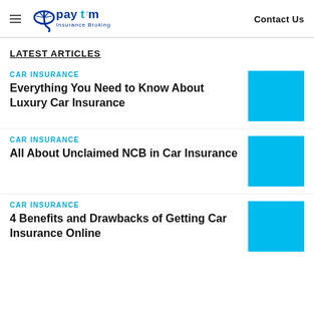Paytm Insurance Broking | Contact Us
LATEST ARTICLES
CAR INSURANCE
Everything You Need to Know About Luxury Car Insurance
[Figure (photo): Blue placeholder image for luxury car insurance article]
CAR INSURANCE
All About Unclaimed NCB in Car Insurance
[Figure (photo): Blue placeholder image for unclaimed NCB article]
CAR INSURANCE
4 Benefits and Drawbacks of Getting Car Insurance Online
[Figure (photo): Blue placeholder image for car insurance online article]